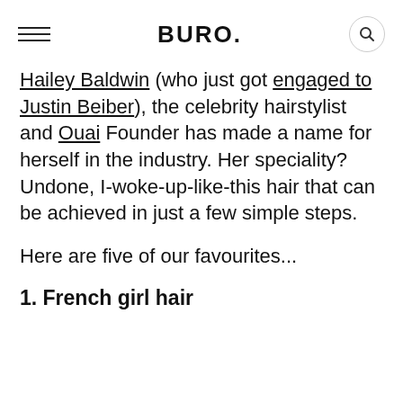BURO.
Hailey Baldwin (who just got engaged to Justin Beiber), the celebrity hairstylist and Ouai Founder has made a name for herself in the industry. Her speciality? Undone, I-woke-up-like-this hair that can be achieved in just a few simple steps.
Here are five of our favourites...
1. French girl hair